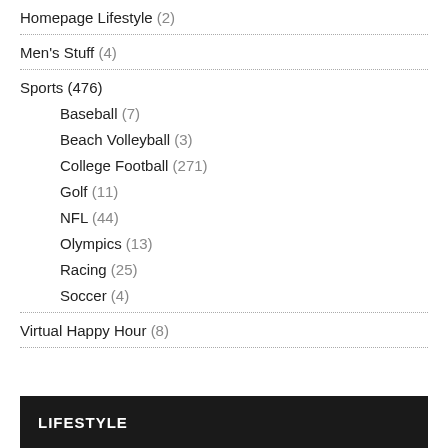Homepage Lifestyle (2)
Men's Stuff (4)
Sports (476)
Baseball (7)
Beach Volleyball (3)
College Football (271)
Golf (11)
NFL (44)
Olympics (13)
Racing (25)
Soccer (4)
Virtual Happy Hour (8)
LIFESTYLE